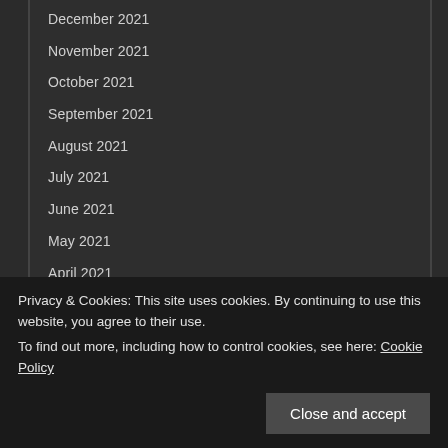December 2021
November 2021
October 2021
September 2021
August 2021
July 2021
June 2021
May 2021
April 2021
January 2021
November 2020
October 2020
September 2020
August 2020
July 2020
December 2019
Privacy & Cookies: This site uses cookies. By continuing to use this website, you agree to their use.
To find out more, including how to control cookies, see here: Cookie Policy
Close and accept